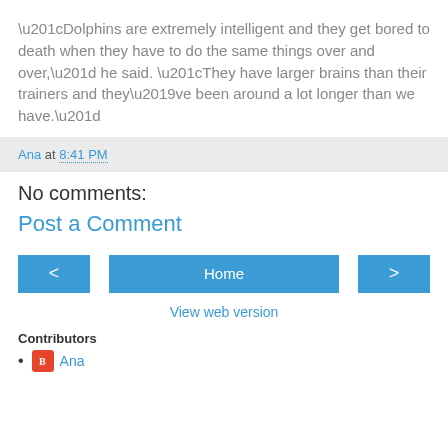“Dolphins are extremely intelligent and they get bored to death when they have to do the same things over and over,” he said. “They have larger brains than their trainers and they’ve been around a lot longer than we have.”
Ana at 8:41 PM
No comments:
Post a Comment
Home
View web version
Contributors
Ana